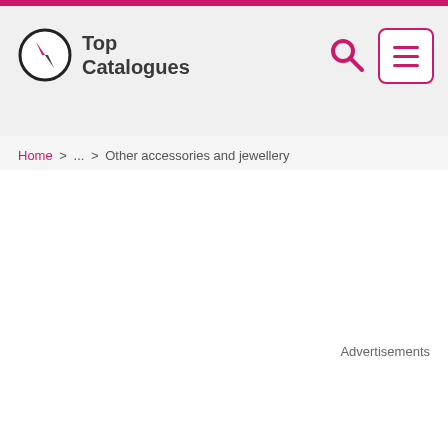Top Catalogues
Home > ... > Other accessories and jewellery
Advertisements